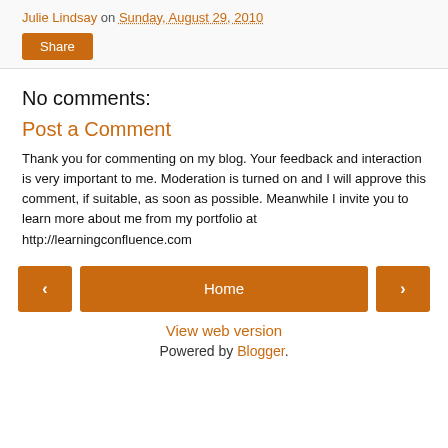Julie Lindsay on Sunday, August 29, 2010
Share
No comments:
Post a Comment
Thank you for commenting on my blog. Your feedback and interaction is very important to me. Moderation is turned on and I will approve this comment, if suitable, as soon as possible. Meanwhile I invite you to learn more about me from my portfolio at http://learningconfluence.com
< | Home | >
View web version
Powered by Blogger.